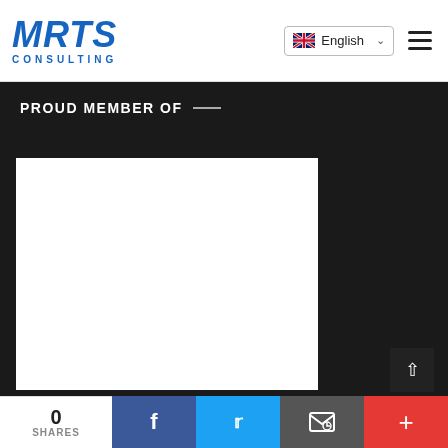[Figure (logo): MRTS Consulting logo — bold italic blue letters MRTS above smaller spaced CONSULTING text]
English (language selector with UK flag and dropdown chevron)
[Figure (other): Hamburger menu icon (three horizontal lines)]
PROUD MEMBER OF —
[Figure (other): Large white rectangular placeholder image area on dark background]
0 SHARES
[Figure (other): Social share bar with Facebook, Twitter, email, and plus icons]